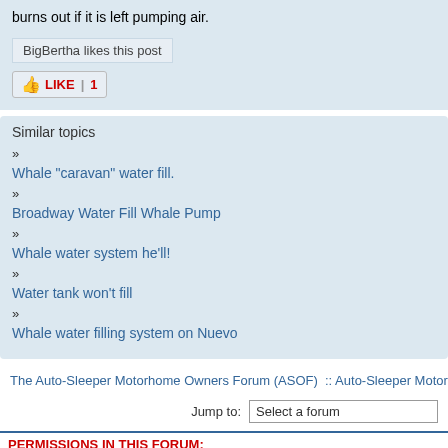pump water through a closed solenoid valve burns out if it is left pumping air.
BigBertha likes this post
LIKE | 1
Similar topics
Whale "caravan" water fill.
Broadway Water Fill Whale Pump
Whale water system he'll!
Water tank won't fill
Whale water filling system on Nuevo
The Auto-Sleeper Motorhome Owners Forum (ASOF)  :: Auto-Sleeper Motorhom
Jump to:  Select a forum
PERMISSIONS IN THIS FORUM:
You cannot reply to topics in this forum
Home